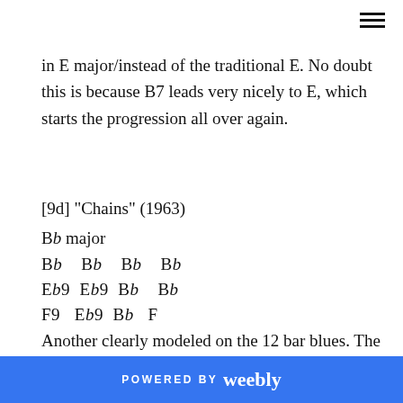≡
in E major/instead of the traditional E. No doubt this is because B7 leads very nicely to E, which starts the progression all over again.
[9d] "Chains" (1963)
Bb major
Bb  Bb  Bb  Bb
Eb9 Eb9  Bb  Bb
F9  Eb9  Bb  F
Another clearly modeled on the 12 bar blues. The only alterations are (a) a few ninths are added to a few chords, and (b) the very last chord is F (the dominant in Bb), which of course leads strongly back to Bb to start the
POWERED BY weebly